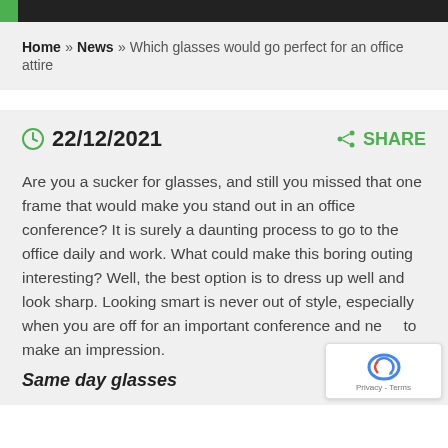Home » News » Which glasses would go perfect for an office attire
22/12/2021   SHARE
Are you a sucker for glasses, and still you missed that one frame that would make you stand out in an office conference? It is surely a daunting process to go to the office daily and work. What could make this boring outing interesting? Well, the best option is to dress up well and look sharp. Looking smart is never out of style, especially when you are off for an important conference and need to make an impression.
Same day glasses